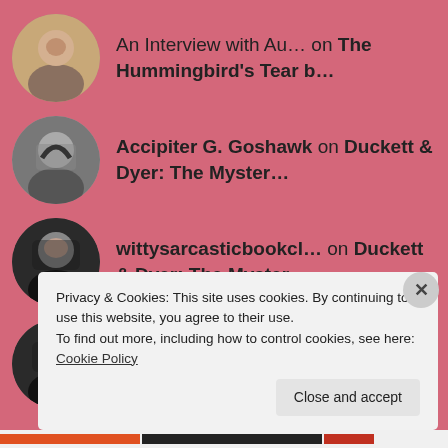An Interview with Au… on The Hummingbird's Tear b…
Accipiter G. Goshawk on Duckett & Dyer: The Myster…
wittysarcasticbookcl… on Duckett & Dyer: The Myster…
wittysarcasticbookcl… on Book Tag: Get to Know the Fant…
Privacy & Cookies: This site uses cookies. By continuing to use this website, you agree to their use.
To find out more, including how to control cookies, see here: Cookie Policy
Close and accept